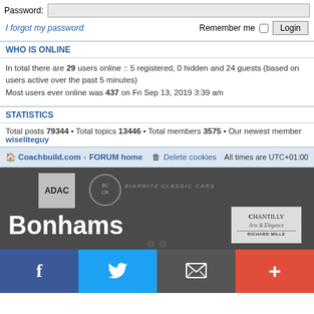Password:
I forgot my password
Remember me  Login
WHO IS ONLINE
In total there are 29 users online :: 5 registered, 0 hidden and 24 guests (based on users active over the past 5 minutes)
Most users ever online was 437 on Fri Sep 13, 2019 3:39 am
STATISTICS
Total posts 79344 • Total topics 13446 • Total members 3575 • Our newest member wiseliteguy
Coachbuild.com · FORUM home   Delete cookies   All times are UTC+01:00
[Figure (screenshot): Advertisement banner with ADAC, Biarritz Classic Cars, Bonhams, and Chantilly Arts & Elegance logos on dark background]
[Figure (infographic): Social media share bar with Facebook, Twitter, email, and plus buttons]